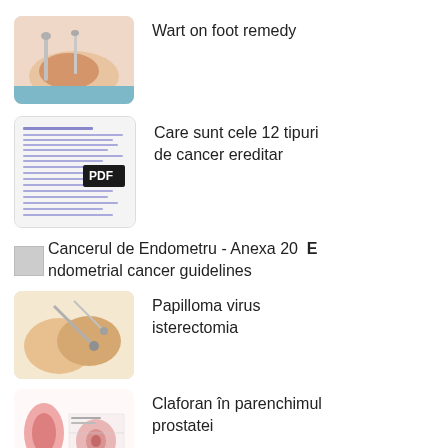Wart on foot remedy
Care sunt cele 12 tipuri de cancer ereditar
Cancerul de Endometru - Anexa 20 Endometrial cancer guidelines
Papilloma virus isterectomia
Claforan în parenchimul prostatei